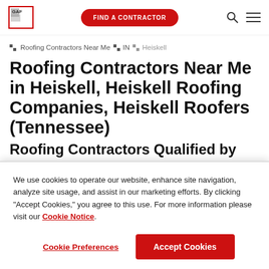GAF | FIND A CONTRACTOR
Roofing Contractors Near Me > IN > Heiskell
Roofing Contractors Near Me in Heiskell, Heiskell Roofing Companies, Heiskell Roofers (Tennessee)
We use cookies to operate our website, enhance site navigation, analyze site usage, and assist in our marketing efforts. By clicking "Accept Cookies," you agree to this use. For more information please visit our Cookie Notice.
Cookie Preferences | Accept Cookies